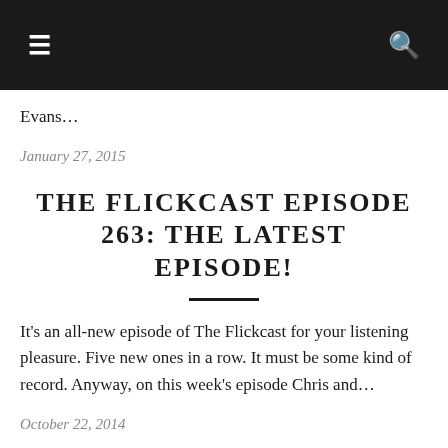☰  🔍
Evans…
January 27, 2015
THE FLICKCAST EPISODE 263: THE LATEST EPISODE!
It's an all-new episode of The Flickcast for your listening pleasure. Five new ones in a row. It must be some kind of record. Anyway, on this week's episode Chris and…
October 22, 2014